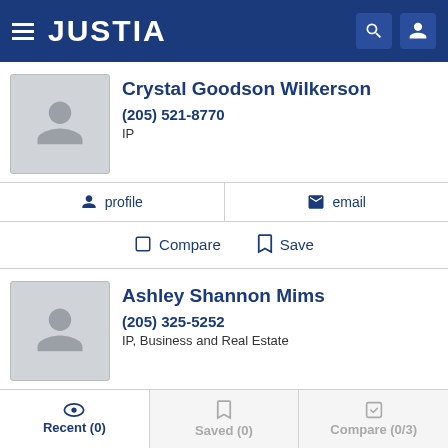JUSTIA
Crystal Goodson Wilkerson
(205) 521-8770
IP
profile   email
Compare   Save
Ashley Shannon Mims
(205) 325-5252
IP, Business and Real Estate
profile   email
Recent (0)   Saved (0)   Compare (0/3)